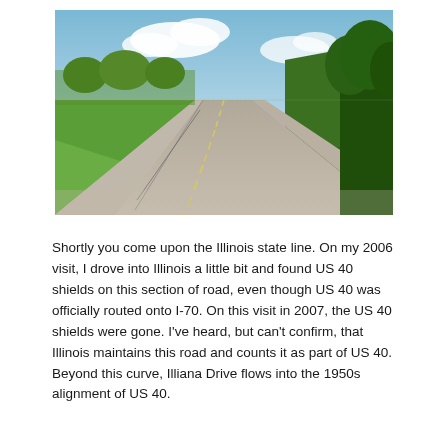[Figure (photo): A straight two-lane rural road stretching to the horizon vanishing point, lined with trees on the right and open green fields with fencing on the left, under a partly cloudy blue sky.]
Shortly you come upon the Illinois state line. On my 2006 visit, I drove into Illinois a little bit and found US 40 shields on this section of road, even though US 40 was officially routed onto I-70. On this visit in 2007, the US 40 shields were gone. I've heard, but can't confirm, that Illinois maintains this road and counts it as part of US 40. Beyond this curve, Illiana Drive flows into the 1950s alignment of US 40.